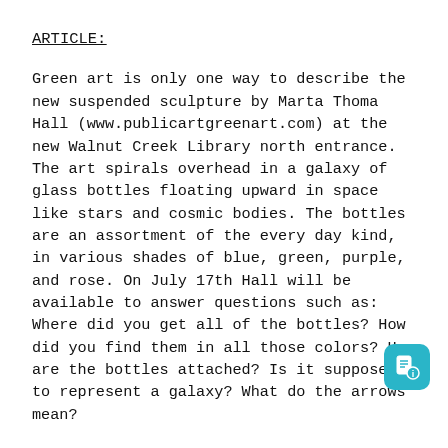ARTICLE:
Green art is only one way to describe the new suspended sculpture by Marta Thoma Hall (www.publicartgreenart.com) at the new Walnut Creek Library north entrance. The art spirals overhead in a galaxy of glass bottles floating upward in space like stars and cosmic bodies. The bottles are an assortment of the every day kind, in various shades of blue, green, purple, and rose. On July 17th Hall will be available to answer questions such as: Where did you get all of the bottles? How did you find them in all those colors? How are the bottles attached? Is it supposed to represent a galaxy? What do the arrows mean?
Climbing the stairs to the second level gives you a closer view of the sculpture. Pale blue bottles along a rim of a large silver hoop look like over sized water drops on a David Smith sculpture. The